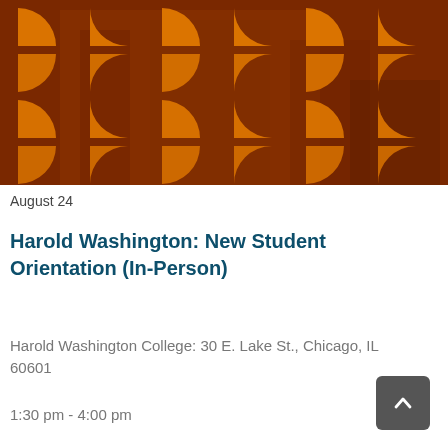[Figure (illustration): Hero banner image showing a building with a dark orange/brown overlay and repeating decorative orange comma/leaf shapes in a checkerboard pattern across the image.]
August 24
Harold Washington: New Student Orientation (In-Person)
Harold Washington College: 30 E. Lake St., Chicago, IL 60601
1:30 pm - 4:00 pm